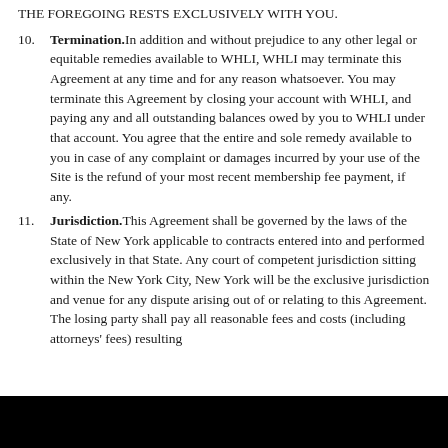THE FOREGOING RESTS EXCLUSIVELY WITH YOU.
10. Termination. In addition and without prejudice to any other legal or equitable remedies available to WHLI, WHLI may terminate this Agreement at any time and for any reason whatsoever. You may terminate this Agreement by closing your account with WHLI, and paying any and all outstanding balances owed by you to WHLI under that account. You agree that the entire and sole remedy available to you in case of any complaint or damages incurred by your use of the Site is the refund of your most recent membership fee payment, if any.
11. Jurisdiction. This Agreement shall be governed by the laws of the State of New York applicable to contracts entered into and performed exclusively in that State. Any court of competent jurisdiction sitting within the New York City, New York will be the exclusive jurisdiction and venue for any dispute arising out of or relating to this Agreement. The losing party shall pay all reasonable fees and costs (including attorneys' fees) resulting